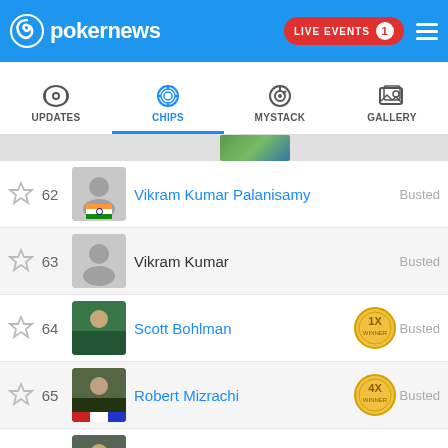pokernews — LIVE EVENTS 1
UPDATES | CHIPS | MYSTACK | GALLERY
62 — Vikram Kumar Palanisamy — Busted
63 — Vikram Kumar — Busted
64 — Scott Bohlman — 1X Winner — Busted
65 — Robert Mizrachi — 4X Winner — Busted
66 — Anton Morgenstern — Busted